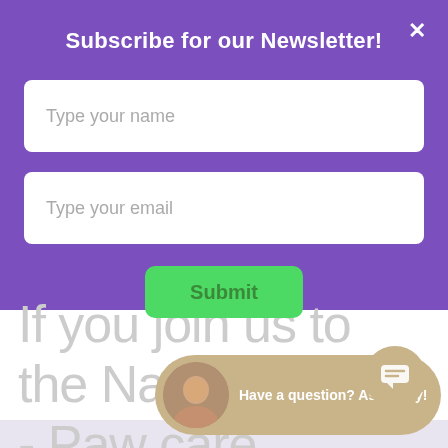Subscribe for our Newsletter!
Type your name
Type your email
Submit
If you join us to the Nail it! - Paw care course, it'll expire
[Figure (screenshot): Chat bubble with avatar photo of Betty and text 'Have a question? Ask Betty!']
[Figure (screenshot): Chat icon button (message bubble icon) in gold/tan circle]